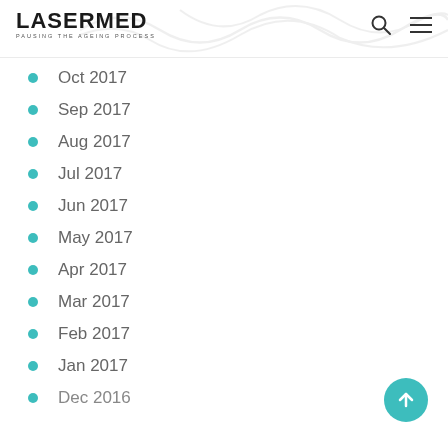LASERMED — PAUSING THE AGEING PROCESS
Oct 2017
Sep 2017
Aug 2017
Jul 2017
Jun 2017
May 2017
Apr 2017
Mar 2017
Feb 2017
Jan 2017
Dec 2016